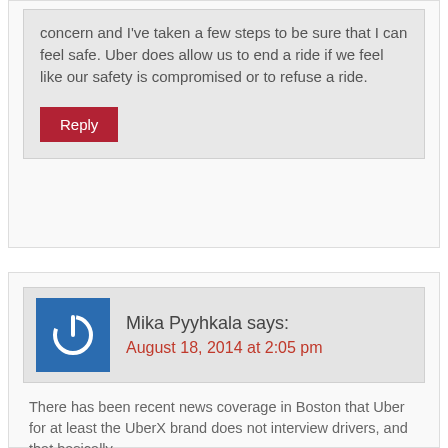concern and I've taken a few steps to be sure that I can feel safe. Uber does allow us to end a ride if we feel like our safety is compromised or to refuse a ride.
Reply
Mika Pyyhkala says:
August 18, 2014 at 2:05 pm
There has been recent news coverage in Boston that Uber for at least the UberX brand does not interview drivers, and that basically